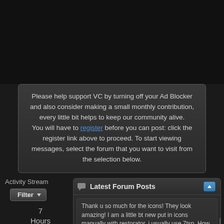Please help support VC by turning off your Ad Blocker and also consider making a small monthly contribution, every little bit helps to keep our community alive.
You will have to register before you can post: click the register link above to proceed. To start viewing messages, select the forum that you want to visit from the selection below.
Activity Stream
Filter
7 Hours Ago
Xia rep to
Latest Forum Posts
Thank u so much for the icons! They look amazing! I am a little bt new put in icons manually with restorator, i usually use 7tsp. How do i now the exact icon to change?
HUD RED Icons PNG &...
7 Hours Ago
I now have my Edition of Alienware Eclipse, in the end i commissioned a Windowblinds Master Skinner to create a WB for me of this